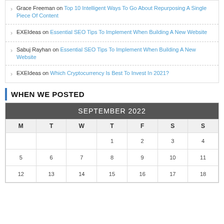Grace Freeman on Top 10 Intelligent Ways To Go About Repurposing A Single Piece Of Content
EXEIdeas on Essential SEO Tips To Implement When Building A New Website
Sabuj Rayhan on Essential SEO Tips To Implement When Building A New Website
EXEIdeas on Which Cryptocurrency Is Best To Invest In 2021?
WHEN WE POSTED
| M | T | W | T | F | S | S |
| --- | --- | --- | --- | --- | --- | --- |
|  |  |  | 1 | 2 | 3 | 4 |
| 5 | 6 | 7 | 8 | 9 | 10 | 11 |
| 12 | 13 | 14 | 15 | 16 | 17 | 18 |